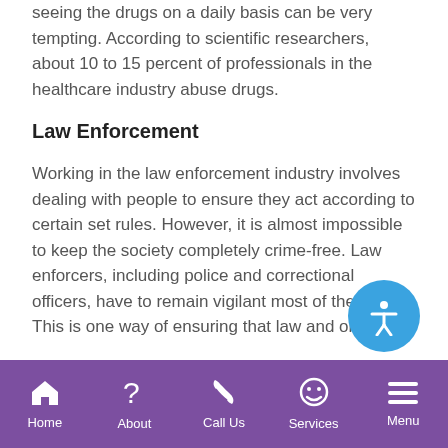seeing the drugs on a daily basis can be very tempting. According to scientific researchers, about 10 to 15 percent of professionals in the healthcare industry abuse drugs.
Law Enforcement
Working in the law enforcement industry involves dealing with people to ensure they act according to certain set rules. However, it is almost impossible to keep the society completely crime-free. Law enforcers, including police and correctional officers, have to remain vigilant most of the time. This is one way of ensuring that law and order are
Home | About | Call Us | Services | Menu